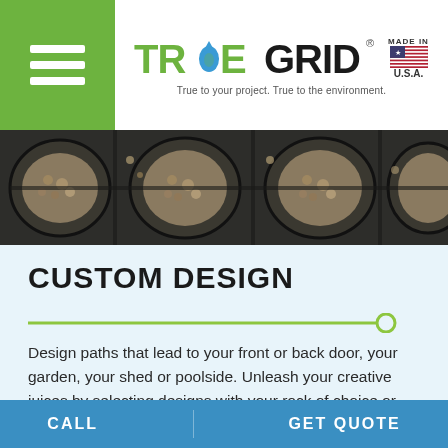[Figure (logo): TrueGrid logo with green 'TRUE' text incorporating a water drop in the O, bold black 'GRID' text, registered trademark symbol, tagline 'True to your project. True to the environment.' and Made in USA flag badge]
[Figure (photo): Close-up photo of black TrueGrid permeable paving grid panels filled with gravel/small rocks, showing the cellular grid structure from above]
CUSTOM DESIGN
[Figure (other): Green horizontal decorative divider line with a circle at the right end]
Design paths that lead to your front or back door, your garden, your shed or poolside. Unleash your creative juices by selecting designs with your rock of choice or use stabilized grass to border your
CALL    GET QUOTE